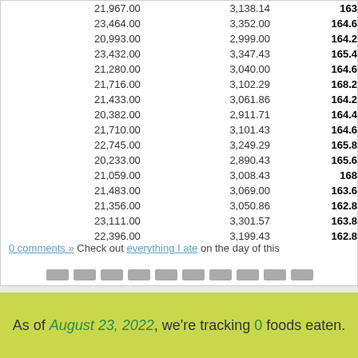|  |  |  |
| --- | --- | --- |
| 21,967.00 | 3,138.14 | 163 |
| 23,464.00 | 3,352.00 | 164.6 |
| 20,993.00 | 2,999.00 | 164.2 |
| 23,432.00 | 3,347.43 | 165.4 |
| 21,280.00 | 3,040.00 | 164.6 |
| 21,716.00 | 3,102.29 | 168.2 |
| 21,433.00 | 3,061.86 | 164.2 |
| 20,382.00 | 2,911.71 | 164.4 |
| 21,710.00 | 3,101.43 | 164.6 |
| 22,745.00 | 3,249.29 | 165.8 |
| 20,233.00 | 2,890.43 | 165.6 |
| 21,059.00 | 3,008.43 | 168 |
| 21,483.00 | 3,069.00 | 163.6 |
| 21,356.00 | 3,050.86 | 162.8 |
| 23,111.00 | 3,301.57 | 163.8 |
| 22,396.00 | 3,199.43 | 162.8 |
0 comments » Check out everything I ate on the day of this
As of August 23, 2022, we're tracking 0 foods eaten.